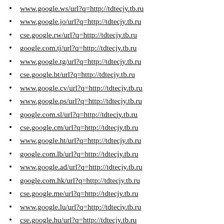www.google.ws/url?q=http://tdtecjy.tb.ru
www.google.jo/url?q=http://tdtecjy.tb.ru
cse.google.rw/url?q=http://tdtecjy.tb.ru
google.com.tj/url?q=http://tdtecjy.tb.ru
www.google.tg/url?q=http://tdtecjy.tb.ru
cse.google.bt/url?q=http://tdtecjy.tb.ru
www.google.cv/url?q=http://tdtecjy.tb.ru
www.google.ps/url?q=http://tdtecjy.tb.ru
google.com.sl/url?q=http://tdtecjy.tb.ru
cse.google.cm/url?q=http://tdtecjy.tb.ru
www.google.ht/url?q=http://tdtecjy.tb.ru
google.com.lb/url?q=http://tdtecjy.tb.ru
www.google.ad/url?q=http://tdtecjy.tb.ru
google.com.hk/url?q=http://tdtecjy.tb.ru
cse.google.me/url?q=http://tdtecjy.tb.ru
www.google.lu/url?q=http://tdtecjy.tb.ru
cse.google.hu/url?q=http://tdtecjy.tb.ru
cse.google.bg/url?q=http://tdtecjy.tb.ru
google.com.vn/url?q=http://tdtecjy.tb.ru